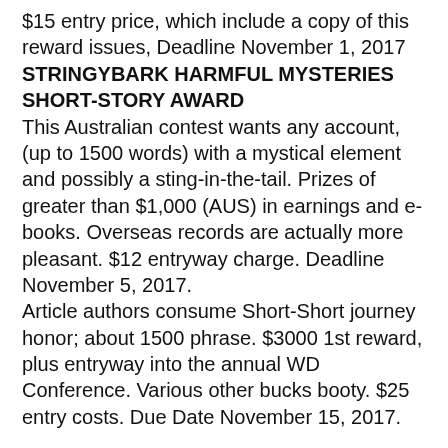$15 entry price, which include a copy of this reward issues, Deadline November 1, 2017
STRINGYBARK HARMFUL MYSTERIES SHORT-STORY AWARD
This Australian contest wants any account, (up to 1500 words) with a mystical element and possibly a sting-in-the-tail. Prizes of greater than $1,000 (AUS) in earnings and e-books. Overseas records are actually more pleasant. $12 entryway charge. Deadline November 5, 2017.
Article authors consume Short-Short journey honor; about 1500 phrase. $3000 1st reward, plus entryway into the annual WD Conference. Various other bucks booty. $25 entry costs. Due Date November 15, 2017.